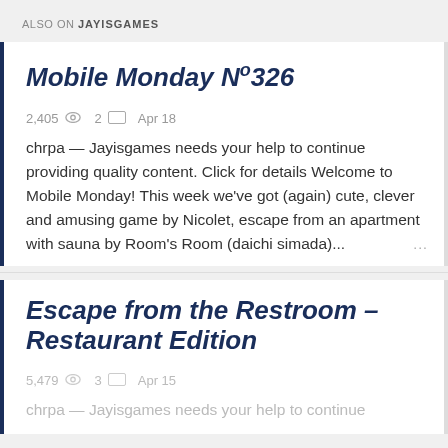ALSO ON JAYISGAMES
Mobile Monday Nº326
2,405  2  Apr 18
chrpa — Jayisgames needs your help to continue providing quality content. Click for details Welcome to Mobile Monday! This week we've got (again) cute, clever and amusing game by Nicolet, escape from an apartment with sauna by Room's Room (daichi simada)...
Escape from the Restroom – Restaurant Edition
5,479  3  Apr 15
chrpa — Jayisgames needs your help to continue